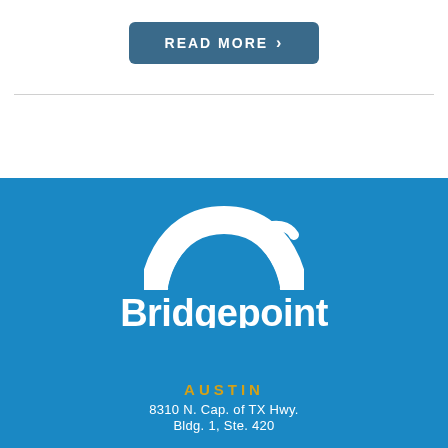READ MORE >
[Figure (logo): Bridgepoint Consulting logo — white arch/bridge icon above the text 'Bridgepoint Consulting' with 'AN ADDISON GROUP COMPANY' below a horizontal rule, all on a blue background]
AUSTIN
8310 N. Cap. of TX Hwy.
Bldg. 1, Ste. 420